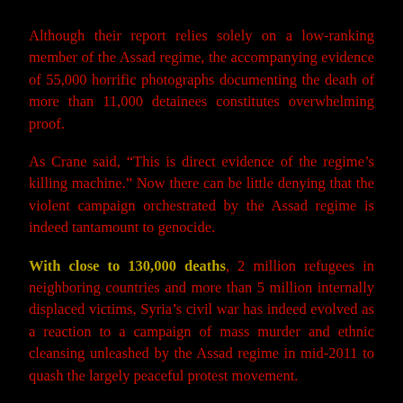Although their report relies solely on a low-ranking member of the Assad regime, the accompanying evidence of 55,000 horrific photographs documenting the death of more than 11,000 detainees constitutes overwhelming proof.
As Crane said, “This is direct evidence of the regime’s killing machine.” Now there can be little denying that the violent campaign orchestrated by the Assad regime is indeed tantamount to genocide.
With close to 130,000 deaths, 2 million refugees in neighboring countries and more than 5 million internally displaced victims, Syria’s civil war has indeed evolved as a reaction to a campaign of mass murder and ethnic cleansing unleashed by the Assad regime in mid-2011 to quash the largely peaceful protest movement.
Some in the Sunni Arab community may stand behind the